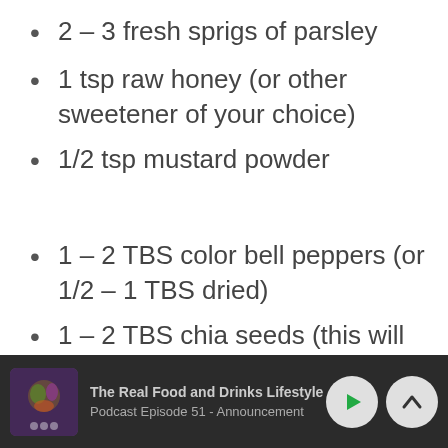2 – 3 fresh sprigs of parsley
1 tsp raw honey (or other sweetener of your choice)
1/2 tsp mustard powder
1 – 2 TBS color bell peppers (or 1/2 – 1 TBS dried)
1 – 2 TBS chia seeds (this will
[Figure (screenshot): Podcast player bar at bottom showing 'The Real Food and Drinks Lifestyle' with 'Podcast Episode 51 - Announcement', play button and chevron-up button on dark background]